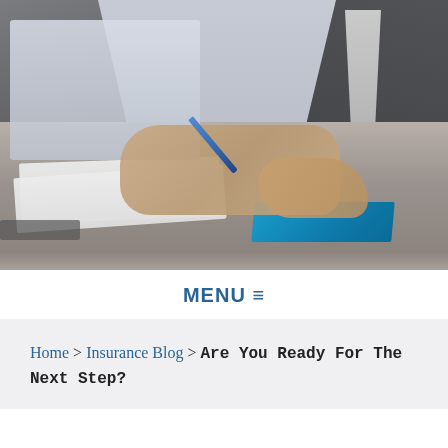[Figure (photo): Two business professionals at a desk, one writing with a blue pen on papers next to a blue folder, with a laptop visible in the background. Blurred office/meeting scene.]
MENU ≡
Home > Insurance Blog > Are You Ready For The Next Step?